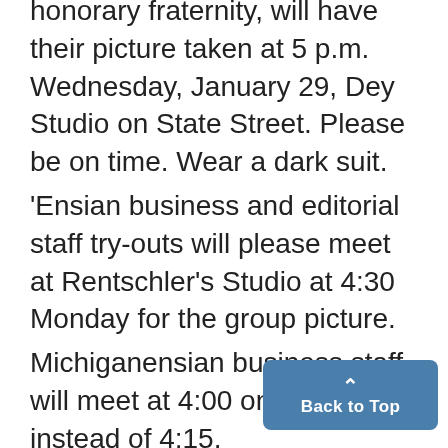honorary fraternity, will have their picture taken at 5 p.m. Wednesday, January 29, Dey Studio on State Street. Please be on time. Wear a dark suit.
'Ensian business and editorial staff try-outs will please meet at Rentschler's Studio at 4:30 Monday for the group picture.
Michiganensian business staff will meet at 4:00 on Monday instead of 4:15.
Frosh Frolic Committee: Important meeting Monday, January 27, 7... Michiganensian...